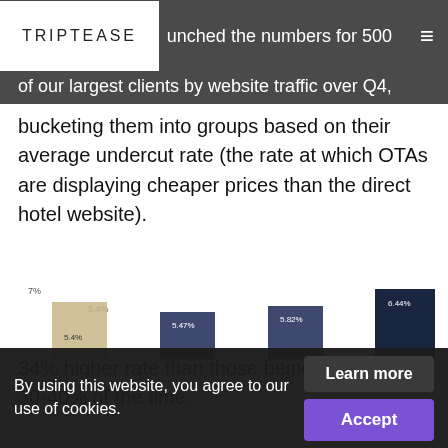TRIPTEASE — ...unched the numbers for 500 of our largest clients by website traffic over Q4,
bucketing them into groups based on their average undercut rate (the rate at which OTAs are displaying cheaper prices than the direct hotel website).
We found that those undercut between 0-10% of the time converted users at an astonishing 34% higher rate than those being undercut 30-40% of the time.
[Figure (bar-chart): Partial bar chart visible at bottom of page, showing percentage values, partially obscured by cookie consent overlay.]
By using this website, you agree to our use of cookies. Learn more Accept